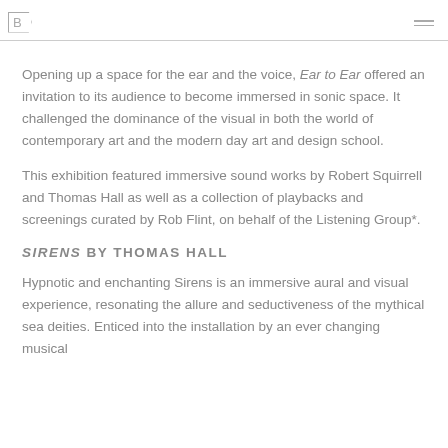B
Opening up a space for the ear and the voice, Ear to Ear offered an invitation to its audience to become immersed in sonic space. It challenged the dominance of the visual in both the world of contemporary art and the modern day art and design school.
This exhibition featured immersive sound works by Robert Squirrell and Thomas Hall as well as a collection of playbacks and screenings curated by Rob Flint, on behalf of the Listening Group*.
SIRENS BY THOMAS HALL
Hypnotic and enchanting Sirens is an immersive aural and visual experience, resonating the allure and seductiveness of the mythical sea deities. Enticed into the installation by an ever changing musical